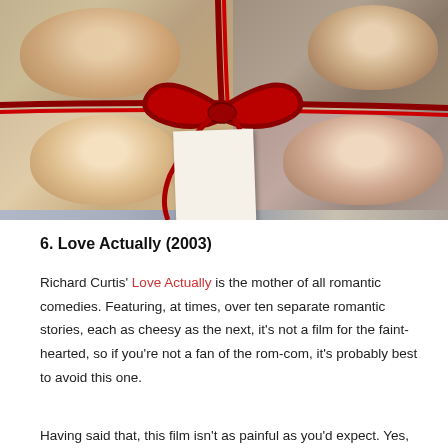[Figure (photo): Movie poster/collage for Love Actually (2003) showing faces of cast members arranged in a grid with a red ribbon/rope tied in a bow across the image, and a white gift tag hanging from the ribbon.]
6. Love Actually (2003)
Richard Curtis' Love Actually is the mother of all romantic comedies. Featuring, at times, over ten separate romantic stories, each as cheesy as the next, it's not a film for the faint-hearted, so if you're not a fan of the rom-com, it's probably best to avoid this one.
Having said that, this film isn't as painful as you'd expect. Yes,